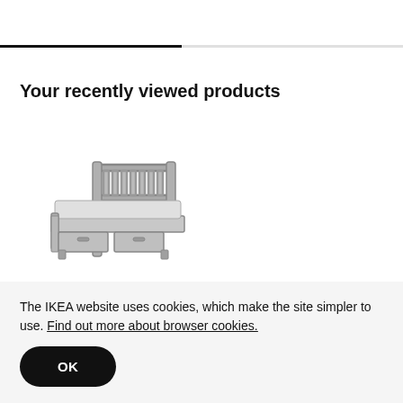[Figure (other): Progress bar — partially filled black bar on grey background, approximately 45% complete]
Your recently viewed products
[Figure (photo): IKEA bed frame with slatted headboard and underbed storage drawers, rendered in grey]
The IKEA website uses cookies, which make the site simpler to use. Find out more about browser cookies.
OK